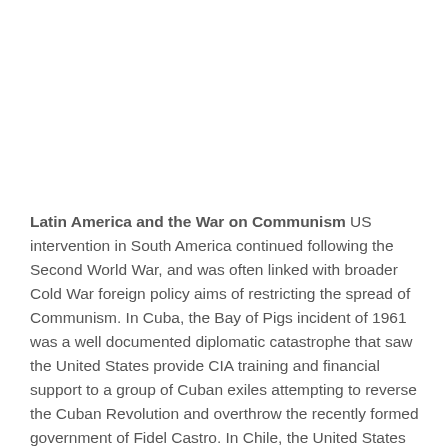Latin America and the War on Communism US intervention in South America continued following the Second World War, and was often linked with broader Cold War foreign policy aims of restricting the spread of Communism. In Cuba, the Bay of Pigs incident of 1961 was a well documented diplomatic catastrophe that saw the United States provide CIA training and financial support to a group of Cuban exiles attempting to reverse the Cuban Revolution and overthrow the recently formed government of Fidel Castro. In Chile, the United States played a key role in the coup led by General Augusto